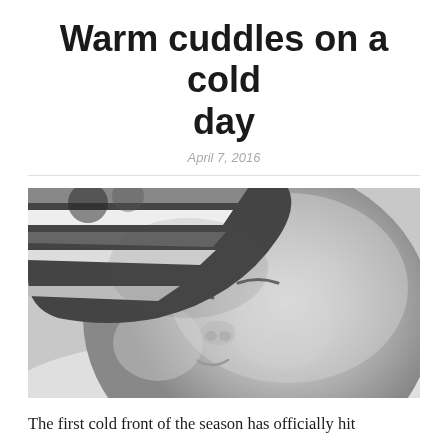Warm cuddles on a cold day
April 7, 2016
[Figure (photo): Black and white close-up photograph of a sleeping newborn baby wearing a striped knitted hat, resting on a soft fuzzy surface.]
The first cold front of the season has officially hit